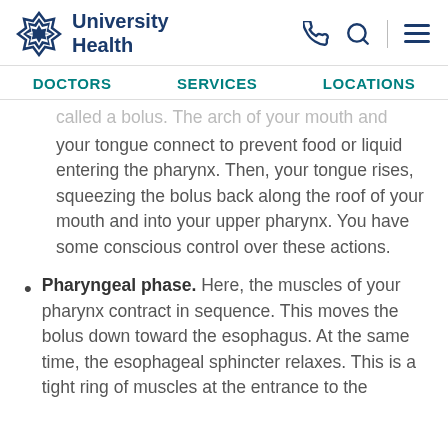University Health
called a bolus. The arch of your mouth and your tongue connect to prevent food or liquid entering the pharynx. Then, your tongue rises, squeezing the bolus back along the roof of your mouth and into your upper pharynx. You have some conscious control over these actions.
Pharyngeal phase. Here, the muscles of your pharynx contract in sequence. This moves the bolus down toward the esophagus. At the same time, the esophageal sphincter relaxes. This is a tight ring of muscles at the entrance to the